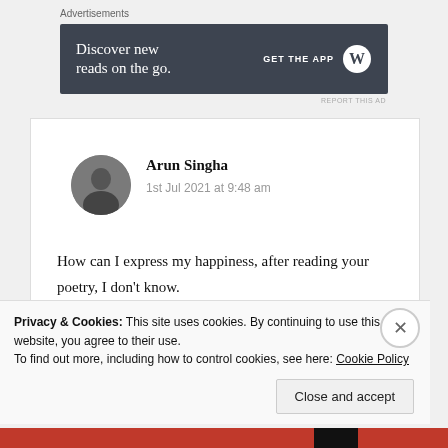Advertisements
[Figure (other): Dark advertisement banner: 'Discover new reads on the go.' with GET THE APP and WordPress logo]
REPORT THIS AD
Arun Singha
1st Jul 2021 at 9:48 am
How can I express my happiness, after reading your poetry, I don't know.
I needed some boost up today, right now. And I got
Privacy & Cookies: This site uses cookies. By continuing to use this website, you agree to their use.
To find out more, including how to control cookies, see here: Cookie Policy
Close and accept